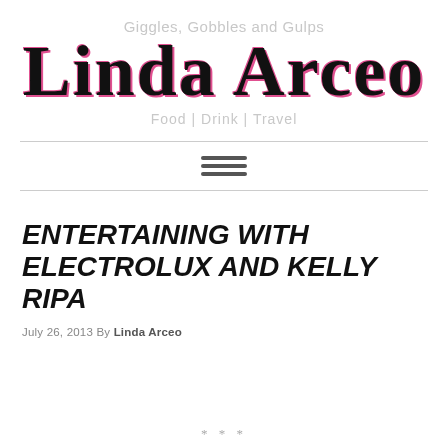Giggles, Gobbles and Gulps
Linda Arceo
Food | Drink | Travel
[Figure (other): Hamburger menu icon with three horizontal lines]
ENTERTAINING WITH ELECTROLUX AND KELLY RIPA
July 26, 2013 By Linda Arceo
* * *